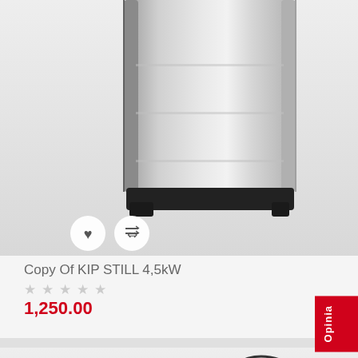[Figure (photo): Top portion of a silver/chrome sauna heater or electric appliance (KIP STILL 4,5kW) against a light gray background, with two circular icon buttons (heart and compare) in the lower left]
Copy Of KIP STILL 4,5kW
[Figure (other): Five empty/outline star rating icons]
1,250.00
[Figure (photo): Bottom portion: Harvia brand sauna heater with stones on top, stainless steel body, with cart button bottom-left, scroll-up button bottom-right, and Opinia tab on right side]